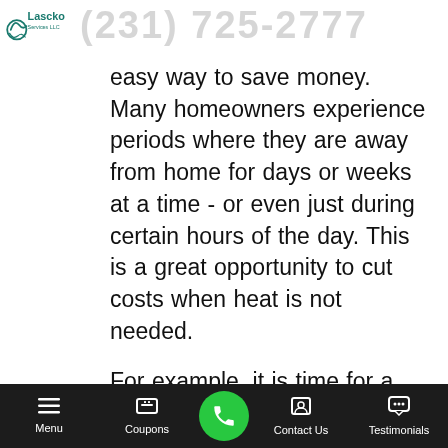Lascko Services LLC — (231) 725-2777
easy way to save money. Many homeowners experience periods where they are away from home for days or weeks at a time - or even just during certain hours of the day. This is a great opportunity to cut costs when heat is not needed.
For example, it is time for a family vacation, and homeowners know they will be gone for two weeks. They can program their thermostats such that there is no heat running while they are gone but so that the heat turns back on
Menu | Coupons | (phone) | Contact Us | Testimonials